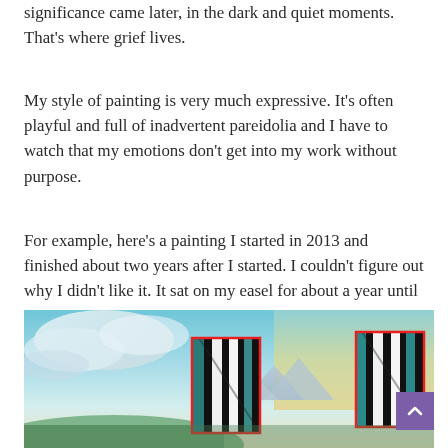significance came later, in the dark and quiet moments. That's where grief lives.
My style of painting is very much expressive. It's often playful and full of inadvertent pareidolia and I have to watch that my emotions don't get into my work without purpose.
For example, here's a painting I started in 2013 and finished about two years after I started. I couldn't figure out why I didn't like it. It sat on my easel for about a year until one night I figured it out:
[Figure (photo): A landscape painting showing a sky with clouds and mountains, with two inset images highlighted with red rectangles showing close-up abstract black and white painted sections.]